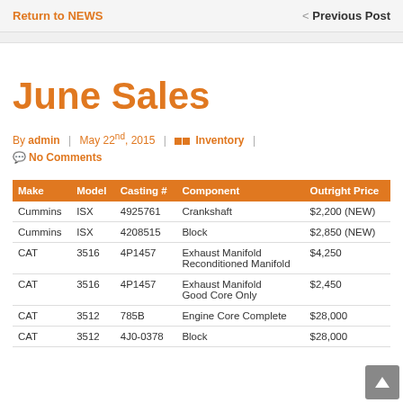Return to NEWS   |   < Previous Post
June Sales
By admin  |  May 22nd, 2015  |  Inventory  |  No Comments
| Make | Model | Casting # | Component | Outright Price |
| --- | --- | --- | --- | --- |
| Cummins | ISX | 4925761 | Crankshaft | $2,200 (NEW) |
| Cummins | ISX | 4208515 | Block | $2,850 (NEW) |
| CAT | 3516 | 4P1457 | Exhaust Manifold Reconditioned Manifold | $4,250 |
| CAT | 3516 | 4P1457 | Exhaust Manifold Good Core Only | $2,450 |
| CAT | 3512 | 785B | Engine Core Complete | $28,000 |
| CAT | 3512 | 4J0-0378 | Block | $28,000 |